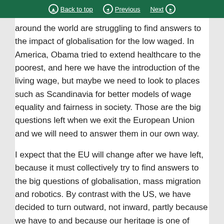Back to top | Previous | Next
around the world are struggling to find answers to the impact of globalisation for the low waged. In America, Obama tried to extend healthcare to the poorest, and here we have the introduction of the living wage, but maybe we need to look to places such as Scandinavia for better models of wage equality and fairness in society. Those are the big questions left when we exit the European Union and we will need to answer them in our own way.
I expect that the EU will change after we have left, because it must collectively try to find answers to the big questions of globalisation, mass migration and robotics. By contrast with the US, we have decided to turn outward, not inward, partly because we have to and because our heritage is one of trade